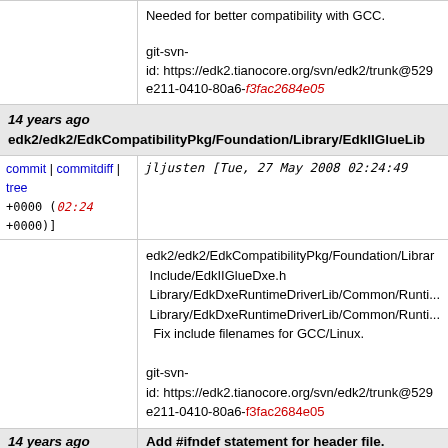Needed for better compatibility with GCC.

git-svn-id: https://edk2.tianocore.org/svn/edk2/trunk@529 e211-0410-80a6-f3fac2684e05
14 years ago
edk2/edk2/EdkCompatibilityPkg/Foundation/Library/EdkIIGlueLib
commit | commitdiff | tree    jljusten [Tue, 27 May 2008 02:24:49 +0000 (02:24 +0000)]
edk2/edk2/EdkCompatibilityPkg/Foundation/Library Include/EdkIIGlueDxe.h Library/EdkDxeRuntimeDriverLib/Common/Runti... Library/EdkDxeRuntimeDriverLib/Common/Runti...  Fix include filenames for GCC/Linux.

git-svn-id: https://edk2.tianocore.org/svn/edk2/trunk@529 e211-0410-80a6-f3fac2684e05
14 years ago    Add #ifndef statement for header file.
commit | commitdiff | tree    qhuang8 [Tue, 27 May 2008 01:34:42 +0000 (01:34 +0000)]
Add #ifndef statement for header file.